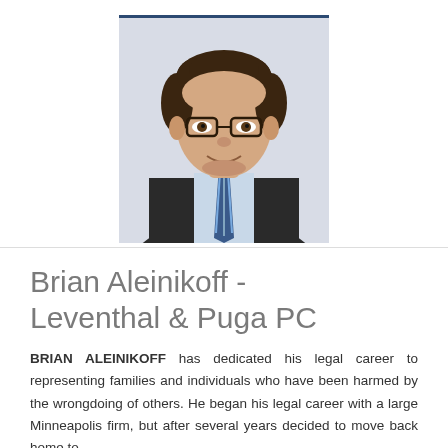[Figure (photo): Professional headshot of Brian Aleinikoff, a young man with dark curly hair and glasses, wearing a dark suit, light blue shirt, and striped blue tie, against a light gray background.]
Brian Aleinikoff - Leventhal & Puga PC
BRIAN ALEINIKOFF has dedicated his legal career to representing families and individuals who have been harmed by the wrongdoing of others. He began his legal career with a large Minneapolis firm, but after several years decided to move back home to